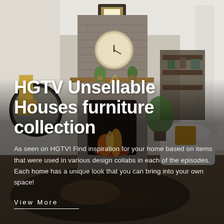[Figure (photo): Interior living room photograph with a stone fireplace, round wall clock, potted plants on a wooden mantle, a round mirror on the left wall with a gold pendant lamp, a white armchair with fur throw and mustard yellow pillow on the right, a cowhide rug on the floor, and a dark semi-transparent overlay in the lower portion of the image.]
HGTV Unsellable Houses furniture collection
As seen on HGTV! Find inspiration for your home based on items that were used in various design collabs in each of the episodes. Each home has a unique look that you can bring into your own space!
View More